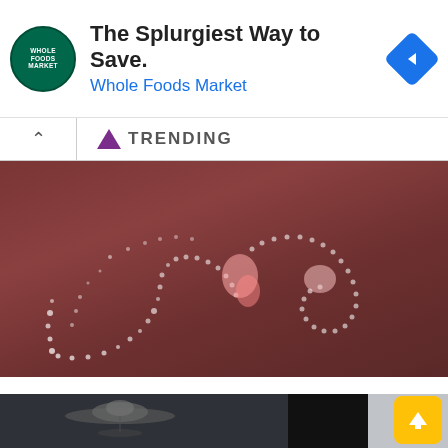[Figure (other): Advertisement banner: Whole Foods Market logo, 'The Splurgiest Way to Save.' headline, blue navigation diamond icon on right, with play and close controls on left side]
TRENDING
[Figure (photo): Close-up reddish-brown image showing glowing dotted light trails resembling biological or alien entities on a dark reddish surface]
New Telescope Detects ‘Invisible’ intelligent alien Entities on Earth
[Figure (photo): Bottom strip showing two smaller thumbnail images: left appears to be a dark UFO silhouette, right is a lighter grey image; yellow scroll-to-top button overlaid on right side]